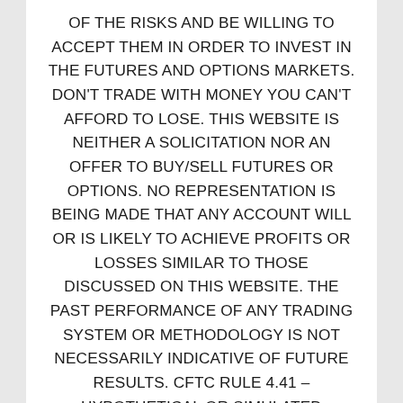OF THE RISKS AND BE WILLING TO ACCEPT THEM IN ORDER TO INVEST IN THE FUTURES AND OPTIONS MARKETS. DON'T TRADE WITH MONEY YOU CAN'T AFFORD TO LOSE. THIS WEBSITE IS NEITHER A SOLICITATION NOR AN OFFER TO BUY/SELL FUTURES OR OPTIONS. NO REPRESENTATION IS BEING MADE THAT ANY ACCOUNT WILL OR IS LIKELY TO ACHIEVE PROFITS OR LOSSES SIMILAR TO THOSE DISCUSSED ON THIS WEBSITE. THE PAST PERFORMANCE OF ANY TRADING SYSTEM OR METHODOLOGY IS NOT NECESSARILY INDICATIVE OF FUTURE RESULTS. CFTC RULE 4.41 – HYPOTHETICAL OR SIMULATED